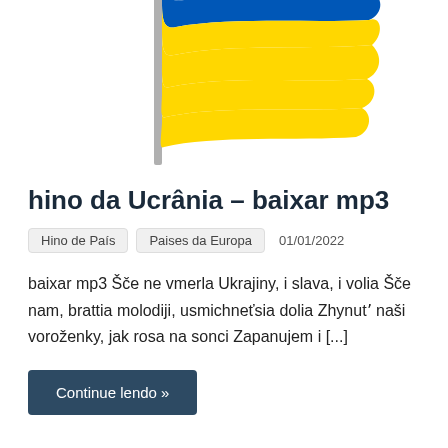[Figure (photo): Ukrainian flag waving on a pole against a white background, showing blue on top and yellow on bottom]
hino da Ucrânia – baixar mp3
Hino de País   Paises da Europa   01/01/2022
baixar mp3 Šče ne vmerla Ukrajiny, i slava, i volia Šče nam, brattia molodiji, usmichneťsia dolia Zhynutʼ naši voroženky, jak rosa na sonci Zapanujem i [...]
Continue lendo »